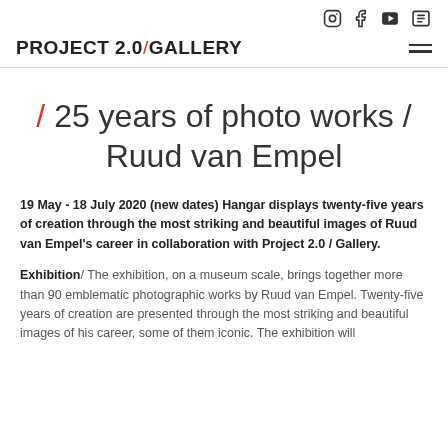Instagram, Facebook, YouTube, Newsletter icons
PROJECT 2.0/GALLERY
/ 25 years of photo works / Ruud van Empel
19 May - 18 July 2020 (new dates) Hangar displays twenty-five years of creation through the most striking and beautiful images of Ruud van Empel's career in collaboration with Project 2.0 / Gallery.
Exhibition/ The exhibition, on a museum scale, brings together more than 90 emblematic photographic works by Ruud van Empel. Twenty-five years of creation are presented through the most striking and beautiful images of his career, some of them iconic. The exhibition will